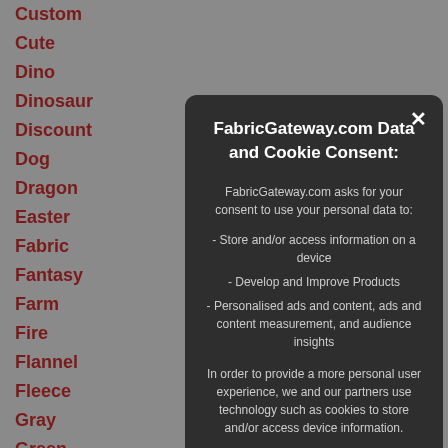Custom
Cute
Dino
Dinosaur
Discount
Dog
Dragon
Easter
Fabric
Fantasy
Farm
Fire
Flannel
Fleece
Gray
Green
Grey
Holiday
Jersey
Knit
Lime
Main
Miller
FabricGateway.com Data and Cookie Consent:
FabricGateway.com asks for your consent to use your personal data to:
- Store and/or access information on a device
- Develop and Improve Products
- Personalised ads and content, ads and content measurement, and audience insights
In order to provide a more personal user experience, we and our partners use technology such as cookies to store and/or access device information.